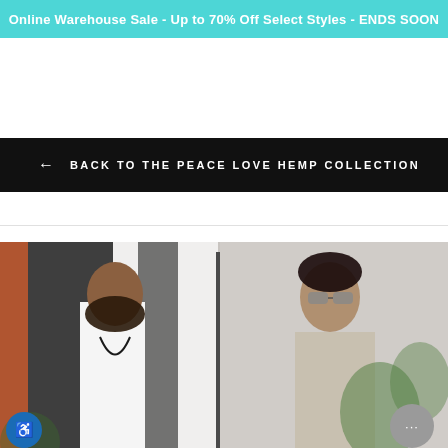Online Warehouse Sale - Up to 70% Off Select Styles - ENDS SOON
← BACK TO THE PEACE LOVE HEMP COLLECTION
[Figure (photo): Two people smiling outdoors, a man with a beard wearing a white shirt and black jacket with a long necklace, and a woman wearing sunglasses and a light-colored outfit, standing in front of a colorful wall with greenery in the background.]